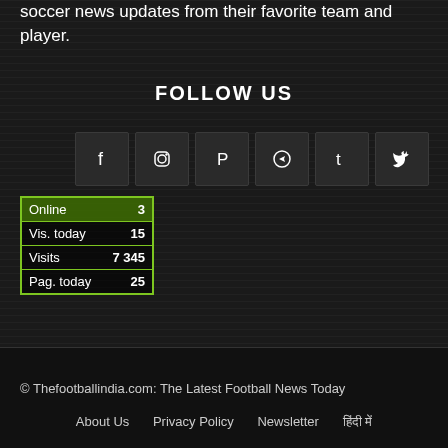soccer news updates from their favorite team and player.
FOLLOW US
[Figure (infographic): Row of 6 social media icon buttons: Facebook (f), Instagram, Pinterest (P), Telegram, Tumblr (t), Twitter on dark square backgrounds]
| Online | 3 |
| Vis. today | 15 |
| Visits | 7 345 |
| Pag. today | 25 |
© Thefootballindia.com: The Latest Football News Today
About Us   Privacy Policy   Newsletter   हिंदी में